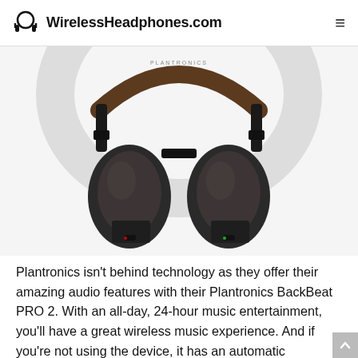WirelessHeadphones.com
[Figure (photo): Plantronics BackBeat PRO 2 wireless headphones shown front-facing with two large ear cups visible, dark gray/black color with brown headband, on white background]
Plantronics isn't behind technology as they offer their amazing audio features with their Plantronics BackBeat PRO 2. With an all-day, 24-hour music entertainment, you'll have a great wireless music experience. And if you're not using the device, it has an automatic shutdown feature to help you save battery life.